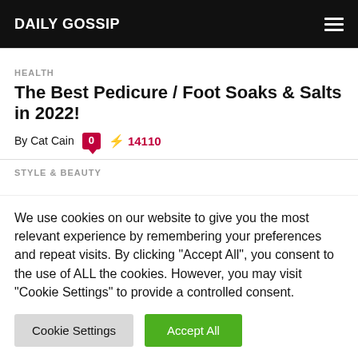DAILY GOSSIP
HEALTH
The Best Pedicure / Foot Soaks & Salts in 2022!
By Cat Cain  0  ⚡ 14110
STYLE & BEAUTY
We use cookies on our website to give you the most relevant experience by remembering your preferences and repeat visits. By clicking "Accept All", you consent to the use of ALL the cookies. However, you may visit "Cookie Settings" to provide a controlled consent.